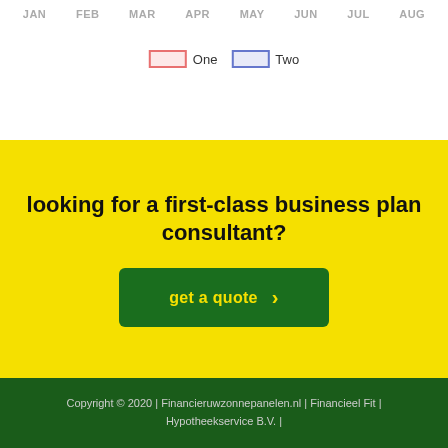[Figure (other): Top portion of a chart showing month axis labels (JAN, FEB, MAR, APR, MAY, JUN, JUL, AUG) and a legend with two series: One (red outlined box) and Two (blue outlined box)]
looking for a first-class business plan consultant?
get a quote >
Copyright © 2020 | Financieruwzonnepanelen.nl | Financieel Fit | Hypotheekservice B.V. |